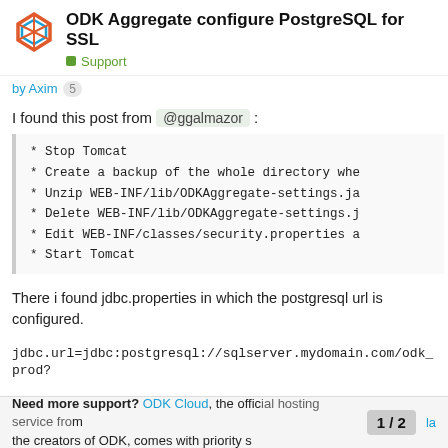ODK Aggregate configure PostgreSQL for SSL — Support
by Axim  5
I found this post from @ggalmazor :
* Stop Tomcat
* Create a backup of the whole directory whe
* Unzip WEB-INF/lib/ODKAggregate-settings.ja
* Delete WEB-INF/lib/ODKAggregate-settings.j
* Edit WEB-INF/classes/security.properties a
* Start Tomcat
There i found jdbc.properties in which the postgresql url is configured.
jdbc.url=jdbc:postgresql://sqlserver.mydomain.com/odk_prod?
Need more support? ODK Cloud, the official hosting service from the creators of ODK, comes with priority s  1 / 2  la